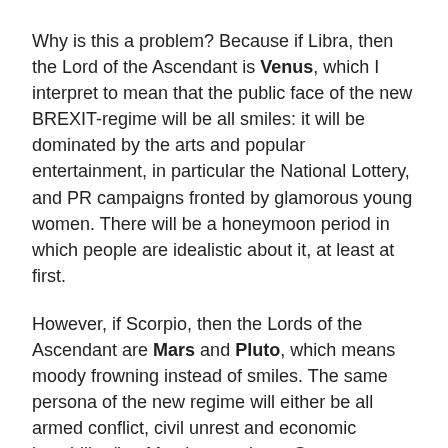Why is this a problem? Because if Libra, then the Lord of the Ascendant is Venus, which I interpret to mean that the public face of the new BREXIT-regime will be all smiles: it will be dominated by the arts and popular entertainment, in particular the National Lottery, and PR campaigns fronted by glamorous young women. There will be a honeymoon period in which people are idealistic about it, at least at first.
However, if Scorpio, then the Lords of the Ascendant are Mars and Pluto, which means moody frowning instead of smiles. The same persona of the new regime will either be all armed conflict, civil unrest and economic instability (i.e. Mars); or perhaps Government upheaval and lone terrorist attacks on Britain's transport networks (i.e. Pluto).
So please, my loyal blog-followers! Which sign do you